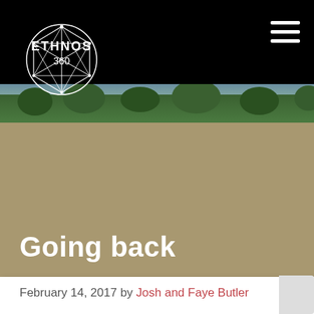ETHNOS 360
[Figure (photo): Hero image of green forest/jungle landscape visible behind black header bar]
Going back
February 14, 2017 by Josh and Faye Butler